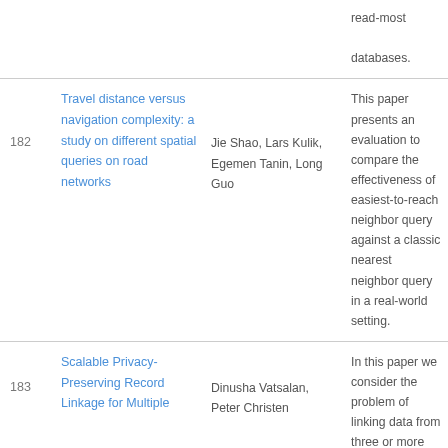read-most databases.
182
Travel distance versus navigation complexity: a study on different spatial queries on road networks
Jie Shao, Lars Kulik, Egemen Tanin, Long Guo
This paper presents an evaluation to compare the effectiveness of easiest-to-reach neighbor query against a classic nearest neighbor query in a real-world setting.
183
Scalable Privacy-Preserving Record Linkage for Multiple
Dinusha Vatsalan, Peter Christen
In this paper we consider the problem of linking data from three or more sources in an